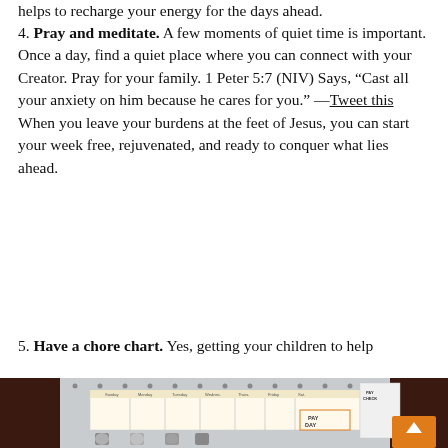helps to recharge your energy for the days ahead.
4. Pray and meditate. A few moments of quiet time is important. Once a day, find a quiet place where you can connect with your Creator. Pray for your family. 1 Peter 5:7 (NIV) Says, “Cast all your anxiety on him because he cares for you.” —Tweet this When you leave your burdens at the feet of Jesus, you can start your week free, rejuvenated, and ready to conquer what lies ahead.
5. Have a chore chart. Yes, getting your children to help
[Figure (photo): A pegboard mounted on a dark wall displaying a chore chart with day columns and a 'PAY DAY' section, along with a 'PAY CHECK' card and several padlocks hanging from hooks at the bottom.]